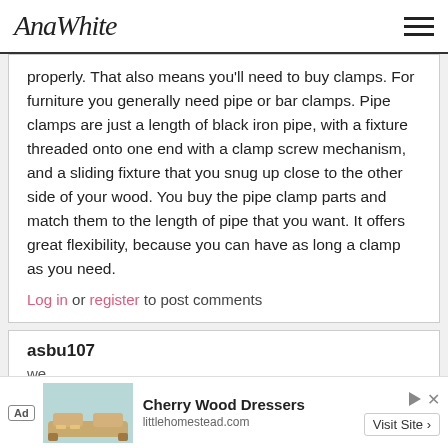AnaWhite
properly. That also means you'll need to buy clamps. For furniture you generally need pipe or bar clamps. Pipe clamps are just a length of black iron pipe, with a fixture threaded onto one end with a clamp screw mechanism, and a sliding fixture that you snug up close to the other side of your wood. You buy the pipe clamp parts and match them to the length of pipe that you want. It offers great flexibility, because you can have as long a clamp as you need.
Log in or register to post comments
asbu107
we